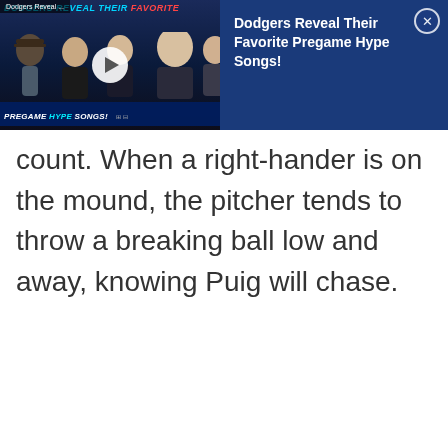[Figure (screenshot): Video overlay banner showing Dodgers players with text 'Dodgers Reveal Their Favorite Pregame Hype Songs!' on a dark blue background. Left side shows video thumbnail with play button, right side shows title text with close button.]
count. When a right-hander is on the mound, the pitcher tends to throw a breaking ball low and away, knowing Puig will chase.